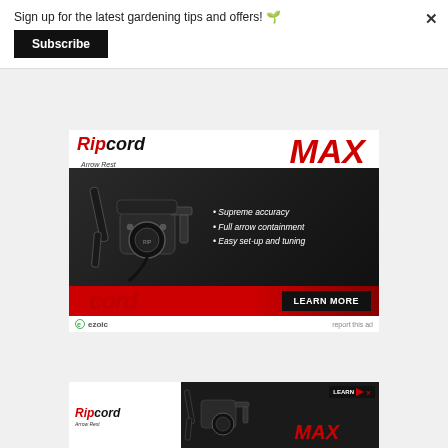Sign up for the latest gardening tips and offers! 🌱
Subscribe
[Figure (screenshot): Ripcord Arrow Rest MAX advertisement showing a black arrow rest product with red MAX branding, bullet points listing Supreme accuracy, Full arrow containment, Easy set-up and tuning, and a LEARN MORE button. Ezoic ad attribution at bottom.]
[Figure (screenshot): Smaller Ripcord Arrow Rest MAX advertisement banner at bottom of page showing logo, product image, MAX text, and LEARN button.]